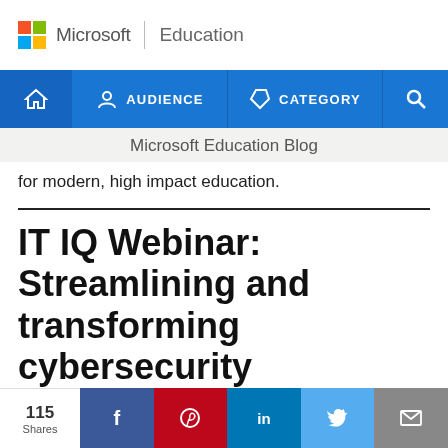[Figure (logo): Microsoft Education logo with four-color grid icon and text]
[Figure (screenshot): Navigation bar with Home, Audience, Category, and Search icons on blue background]
Microsoft Education Blog
for modern, high impact education.
IT IQ Webinar: Streamlining and transforming cybersecurity operations at your school with Azure
115 Shares